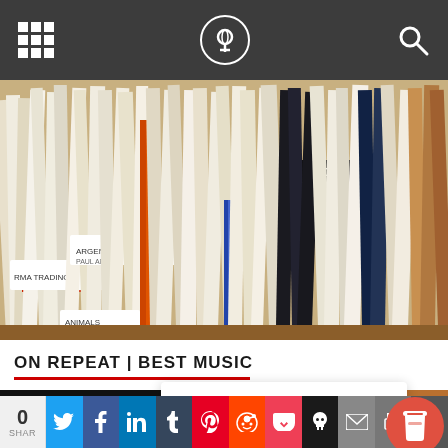Navigation bar with grid menu, logo, and search icon
[Figure (photo): Close-up photograph of vinyl record albums sorted in crates with alphabetical dividers showing labels like ROCK, ARGENT, PAUL ANKA, RMA TRADING, ANOTHER CARNIVAL, ANIMALS]
ON REPEAT | BEST MUSIC
[Figure (photo): Two album art thumbnails side by side - left shows dark background with golden decorative wings/bird design, right shows warm wooden interior]
Thank you for visiting. You can now buy me a coffee!
[Figure (illustration): Coffee cup icon on red circular button]
0 SHAR | Social share buttons: Twitter, Facebook, LinkedIn, Tumblr, Pinterest, Reddit, Pocket, Skull, Email, Print, More